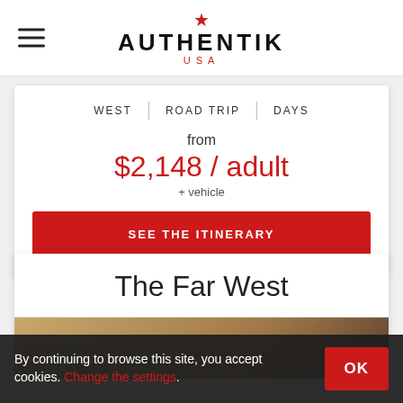AUTHENTIK USA
WEST | ROAD TRIP | DAYS
from $2,148 / adult + vehicle
SEE THE ITINERARY
The Far West
[Figure (photo): Desert landscape photo (tan/brown tones)]
By continuing to browse this site, you accept cookies. Change the settings.